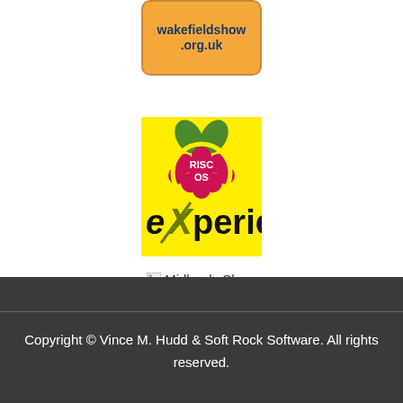[Figure (logo): Wakefieldshow.org.uk logo - orange rounded rectangle with dark blue bold text reading 'wakefieldshow .org.uk']
[Figure (logo): RISC OS Experience logo - yellow square background with raspberry pi style raspberry graphic with RISC OS text, and 'eXperience' text below with stylized X]
[Figure (other): Broken image placeholder labeled 'Midlands Show']
Copyright © Vince M. Hudd & Soft Rock Software. All rights reserved.